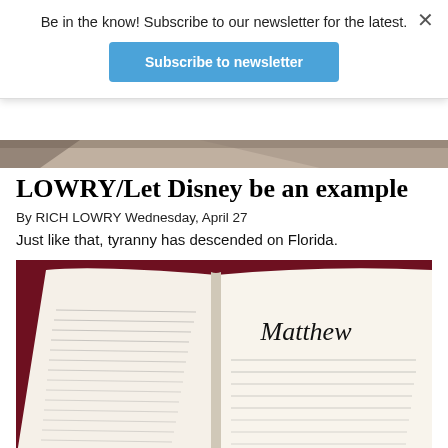Be in the know! Subscribe to our newsletter for the latest.
Subscribe to newsletter
[Figure (photo): Top portion of a news article image, partially visible at the top of the page (cropped)]
LOWRY/Let Disney be an example
By RICH LOWRY Wednesday, April 27
Just like that, tyranny has descended on Florida.
[Figure (photo): Close-up photo of an open Bible showing the Book of Matthew, with red/dark background visible behind the pages]